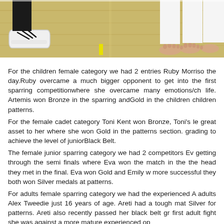[Figure (photo): Cropped photo showing feet and legs of children standing on a wooden gym floor, with one person wearing white Adidas sneakers on the left and bare feet on the right. A yellow stripe is visible on the floor.]
For the children female category we had 2 entries Ruby Morrison the day.Ruby overcame a much bigger opponent to get into the first sparring competitionwhere she overcame many emotions/ch life. Artemis won Bronze in the sparring andGold in the children children patterns.
For the female cadet category Toni Kent won Bronze, Toni's le great asset to her where she won Gold in the patterns section. grading to achieve the level of juniorBlack Belt.
The female junior sparring category we had 2 competitors Ev getting through the semi finals where Eva won the match in the the head they met in the final. Eva won Gold and Emily w more successful they both won Silver medals at patterns.
For adults female sparring category we had the experienced A adults Alex Tweedie just 16 years of age. Areti had a tough mat Silver for patterns. Areti also recently passed her black belt gr first adult fight she was against a more mature experienced op